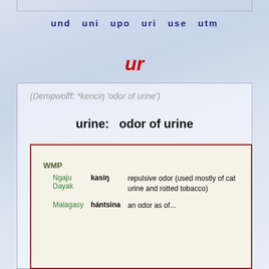und  uni  upo  uri  use  utm
ur
(Dempwolff: *kenciŋ 'odor of urine')
urine:   odor of urine
| Language | Word | Definition |
| --- | --- | --- |
| WMP |  |  |
| Ngaju Dayak | kasiŋ | repulsive odor (used mostly of cat urine and rotted tobacco) |
| Malagasy | hántsina | an odor as of... |